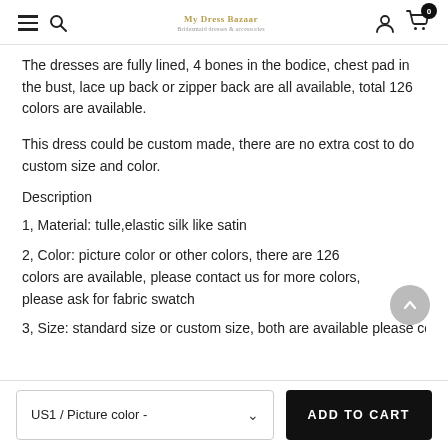Navigation header with hamburger menu, search, logo, user icon, cart icon (0 items)
The dresses are fully lined, 4 bones in the bodice, chest pad in the bust, lace up back or zipper back are all available, total 126 colors are available.
This dress could be custom made, there are no extra cost to do custom size and color.
Description
1, Material: tulle,elastic silk like satin
2, Color: picture color or other colors, there are 126 colors are available, please contact us for more colors, please ask for fabric swatch
3, Size: (partially visible, cut off at bottom)